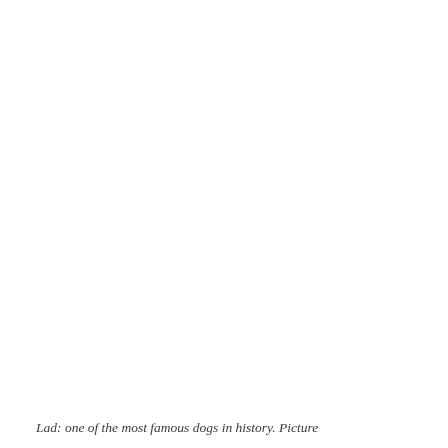[Figure (photo): Large mostly white area representing a photograph of Lad the dog (image not rendered in this scan excerpt)]
Lad: one of the most famous dogs in history. Picture